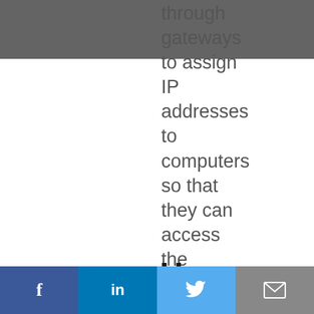TREMBIT — Stand For Ukraine
through gateways to assign IP addresses to computers so that they can access the Internet.
How
f  in  Twitter  Email